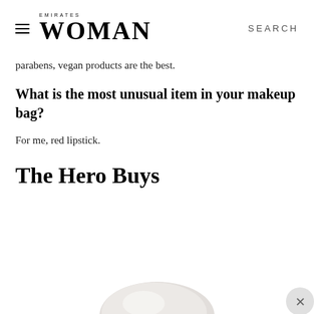EMIRATES WOMAN | SEARCH
parabens, vegan products are the best.
What is the most unusual item in your makeup bag?
For me, red lipstick.
The Hero Buys
[Figure (photo): Partial view of a white/cream cosmetic product against a white background, with a close button (X) in the bottom right corner]